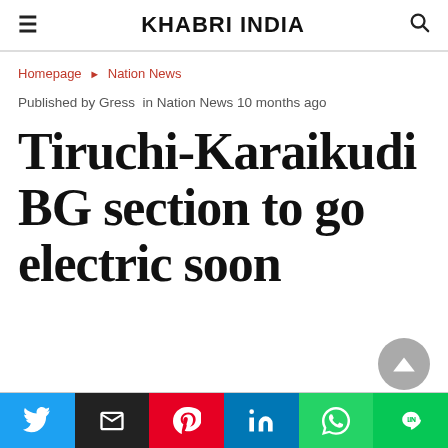KHABRI INDIA
Homepage ▸ Nation News
Published by Gress in Nation News 10 months ago
Tiruchi-Karaikudi BG section to go electric soon